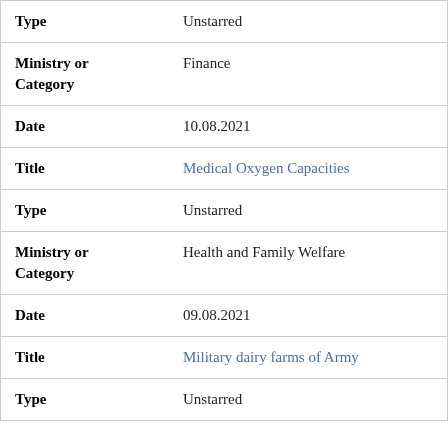| Type | Unstarred |
| Ministry or Category | Finance |
| Date | 10.08.2021 |
| Title | Medical Oxygen Capacities |
| Type | Unstarred |
| Ministry or Category | Health and Family Welfare |
| Date | 09.08.2021 |
| Title | Military dairy farms of Army |
| Type | Unstarred |